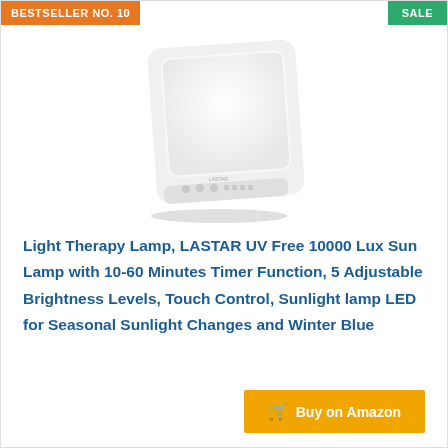BESTSELLER NO. 10
SALE
[Figure (photo): White rectangular light therapy lamp with rounded corners, a large bright panel on the front, and control buttons at the bottom, shown at a slight angle]
Light Therapy Lamp, LASTAR UV Free 10000 Lux Sun Lamp with 10-60 Minutes Timer Function, 5 Adjustable Brightness Levels, Touch Control, Sunlight lamp LED for Seasonal Sunlight Changes and Winter Blue
Buy on Amazon